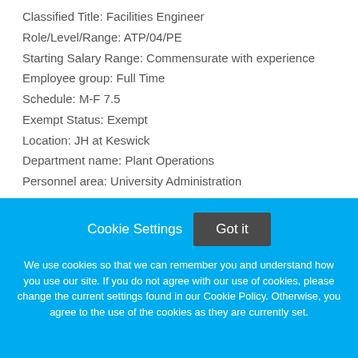Classified Title: Facilities Engineer
Role/Level/Range: ATP/04/PE
Starting Salary Range: Commensurate with experience
Employee group: Full Time
Schedule: M-F 7.5
Exempt Status: Exempt
Location: JH at Keswick
Department name: Plant Operations
Personnel area: University Administration
Cookie Settings   Got it

We use cookies so that we can remember you and understand how you use our site. If you do not agree with our use of cookies, please change the current settings found in our Cookie Policy. Otherwise, you agree to the use of the cookies as they are currently set.